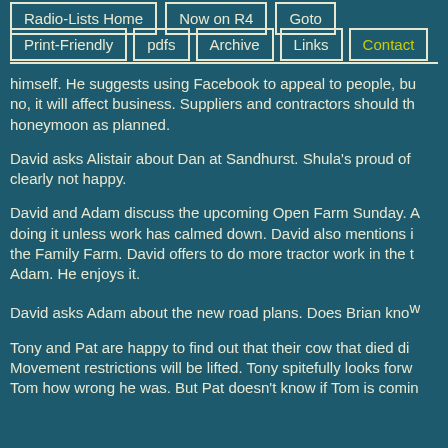Radio-Lists Home
Now on R4
Goto
Print-Friendly
pdfs
Archive
Links
Contact
himself. He suggests using Facebook to appeal to people, bu no, it will affect business. Suppliers and contractors should th honeymoon as planned.
David asks Alistair about Dan at Sandhurst. Shula's proud of clearly not happy.
David and Adam discuss the upcoming Open Farm Sunday. A doing it unless work has calmed down. David also mentions i the Family Farm. David offers to do more tractor work in the t Adam. He enjoys it.
David asks Adam about the new road plans. Does Brian know
Tony and Pat are happy to find out that their cow that died di Movement restrictions will be lifted. Tony spitefully looks forw Tom how wrong he was. But Pat doesn't know if Tom is comin